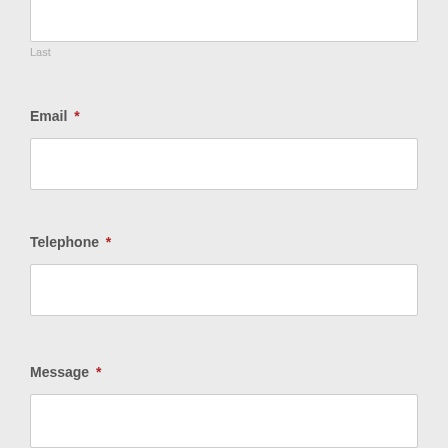Last
Email *
Telephone *
Message *